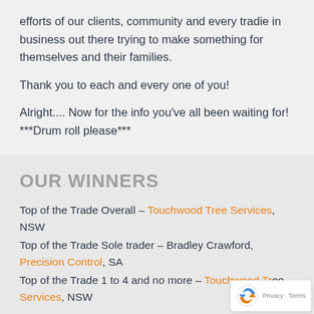efforts of our clients, community and every tradie in business out there trying to make something for themselves and their families.
Thank you to each and every one of you!
Alright.... Now for the info you've all been waiting for! ***Drum roll please***
OUR WINNERS
Top of the Trade Overall – Touchwood Tree Services, NSW
Top of the Trade Sole trader – Bradley Crawford, Precision Control, SA
Top of the Trade 1 to 4 and no more – Touchwood Tree Services, NSW